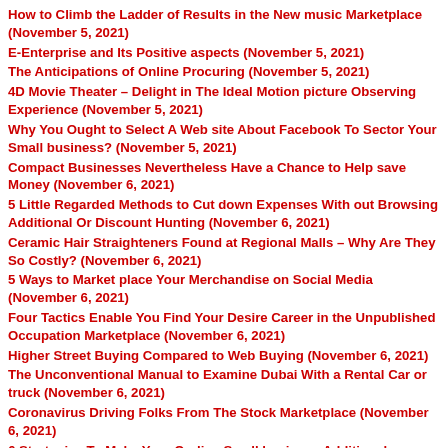How to Climb the Ladder of Results in the New music Marketplace (November 5, 2021)
E-Enterprise and Its Positive aspects (November 5, 2021)
The Anticipations of Online Procuring (November 5, 2021)
4D Movie Theater – Delight in The Ideal Motion picture Observing Experience (November 5, 2021)
Why You Ought to Select A Web site About Facebook To Sector Your Small business? (November 5, 2021)
Compact Businesses Nevertheless Have a Chance to Help save Money (November 6, 2021)
5 Little Regarded Methods to Cut down Expenses With out Browsing Additional Or Discount Hunting (November 6, 2021)
Ceramic Hair Straighteners Found at Regional Malls – Why Are They So Costly? (November 6, 2021)
5 Ways to Market place Your Merchandise on Social Media (November 6, 2021)
Four Tactics Enable You Find Your Desire Career in the Unpublished Occupation Marketplace (November 6, 2021)
Higher Street Buying Compared to Web Buying (November 6, 2021)
The Unconventional Manual to Examine Dubai With a Rental Car or truck (November 6, 2021)
Coronavirus Driving Folks From The Stock Marketplace (November 6, 2021)
6 Strategise To Make Your On-line Small business Additional